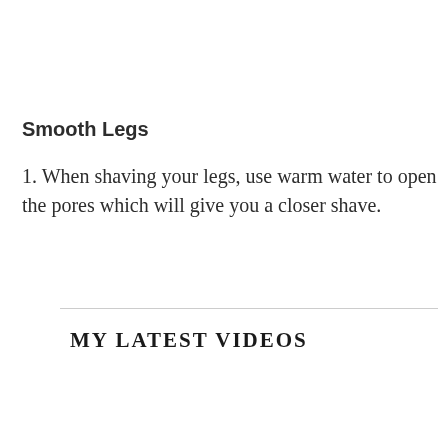Smooth Legs
1. When shaving your legs, use warm water to open the pores which will give you a closer shave.
MY LATEST VIDEOS
[Figure (screenshot): Video player showing 'Loaded Totchos Recipe.mp4' with a black background and a golden/amber colored button with an up arrow icon]